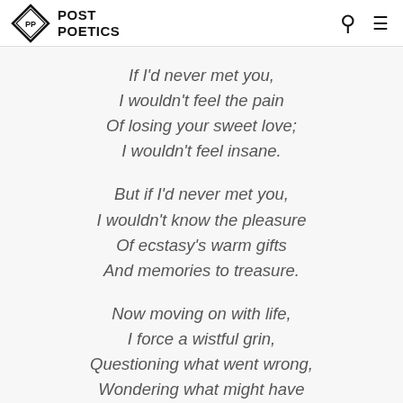POST POETICS
If I'd never met you,
I wouldn't feel the pain
Of losing your sweet love;
I wouldn't feel insane.

But if I'd never met you,
I wouldn't know the pleasure
Of ecstasy's warm gifts
And memories to treasure.

Now moving on with life,
I force a wistful grin,
Questioning what went wrong,
Wondering what might have been.